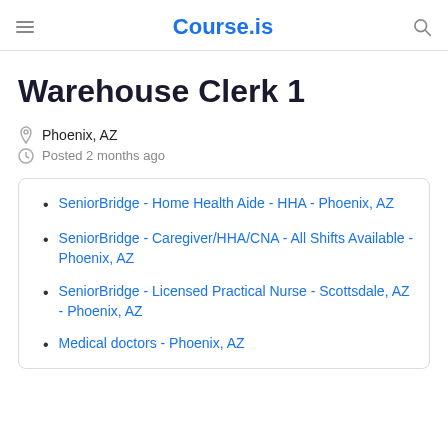Course.is
Warehouse Clerk 1
Phoenix, AZ
Posted 2 months ago
SeniorBridge - Home Health Aide - HHA - Phoenix, AZ
SeniorBridge - Caregiver/HHA/CNA - All Shifts Available - Phoenix, AZ
SeniorBridge - Licensed Practical Nurse - Scottsdale, AZ - Phoenix, AZ
Medical doctors - Phoenix, AZ